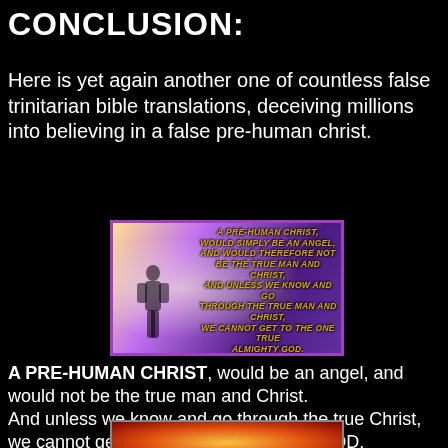CONCLUSION:
Here is yet again another one of countless false trinitarian bible translations, deceiving millions into believing in a false pre-human christ.
[Figure (illustration): Purple and gold religious image with a glowing silhouette of a figure and text overlay reading: A PRE-HUMAN CHRIST, WOULD SIMPLY BE AN ANGEL, AND WOULD THEREFORE NOT BE THE TRUE MAN AND CHRIST. AND UNLESS WE KNOW AND GO THROUGH THE TRUE MAN AND CHRIST, WE CANNOT GET TO THE ONE TRUE ALMIGHTY GOD.]
A PRE-HUMAN CHRIST, would be an angel, and would not be the true man and Christ. And unless we know and go through the true Christ, we cannot get to the one true almighty GOD.
[Figure (illustration): Partial bottom image showing flames and a glowing earth or figure, partially visible.]